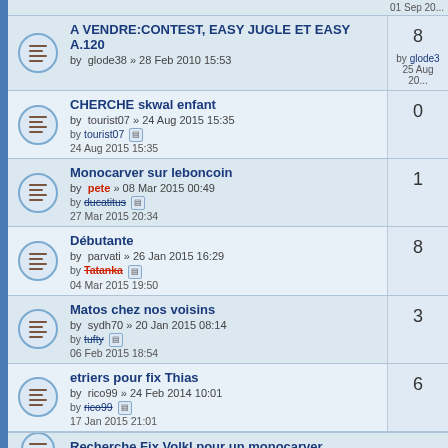A VENDRE:CONTEST, EASY JUGLE ET EASY A.120 by glode38 » 28 Feb 2010 15:53 — replies: 8 — last by glode38, 25 Aug 20...
CHERCHE skwal enfant by tourist07 » 24 Aug 2015 15:35 — replies: 0 — last by tourist07, 24 Aug 2015 15:35
Monocarver sur leboncoin by pete » 08 Mar 2015 00:49 — replies: 1 — last by ducatitus, 27 Mar 2015 20:34
Débutante by parvati » 26 Jan 2015 16:29 — replies: 8 — last by Tatanka, 04 Mar 2015 19:50
Matos chez nos voisins by sydh70 » 20 Jan 2015 08:14 — replies: 3 — last by tufty, 06 Feb 2015 18:54
etriers pour fix Thias by rico99 » 24 Feb 2014 10:01 — replies: 6 — last by rico99, 17 Jan 2015 21:01
Recherche Fix Volkl pour un monocarver